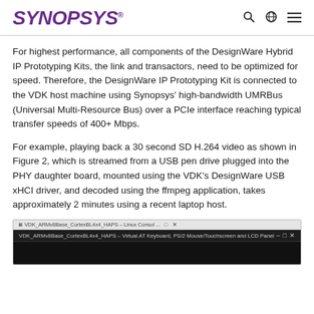SYNOPSYS
For highest performance, all components of the DesignWare Hybrid IP Prototyping Kits, the link and transactors, need to be optimized for speed. Therefore, the DesignWare IP Prototyping Kit is connected to the VDK host machine using Synopsys' high-bandwidth UMRBus (Universal Multi-Resource Bus) over a PCIe interface reaching typical transfer speeds of 400+ Mbps.
For example, playing back a 30 second SD H.264 video as shown in Figure 2, which is streamed from a USB pen drive plugged into the PHY daughter board, mounted using the VDK's DesignWare USB xHCI driver, and decoded using the ffmpeg application, takes approximately 2 minutes using a recent laptop host.
[Figure (screenshot): Screenshot of VDK ARMv8Base_CortexBL4x4_HAPS Linux Console window showing a virtual AT keyboard, PS/2 Mouse/Touchscreen and LCD Panel title bar with black terminal area below.]